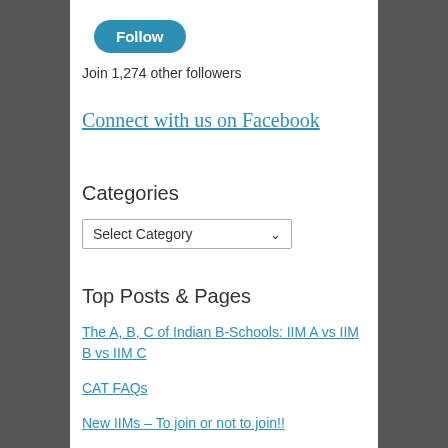[Figure (other): Blue Follow button (pill-shaped, teal/blue background, white text)]
Join 1,274 other followers
Connect with us on Facebook
Categories
[Figure (other): Select Category dropdown widget]
Top Posts & Pages
The A, B, C of Indian B-Schools: IIM A vs IIM B vs IIM C
CAT FAQs
New IIMs – To join or not to join!!